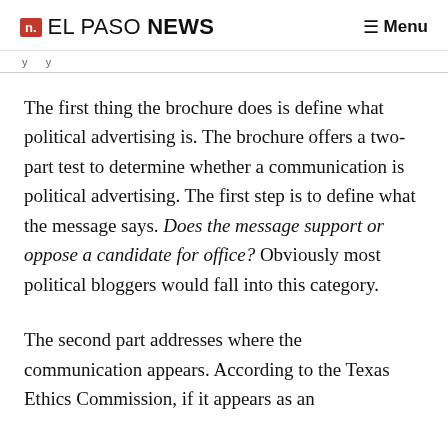n. EL PASO NEWS  ≡ Menu
The first thing the brochure does is define what political advertising is. The brochure offers a two-part test to determine whether a communication is political advertising. The first step is to define what the message says. Does the message support or oppose a candidate for office? Obviously most political bloggers would fall into this category.
The second part addresses where the communication appears. According to the Texas Ethics Commission, if it appears as an